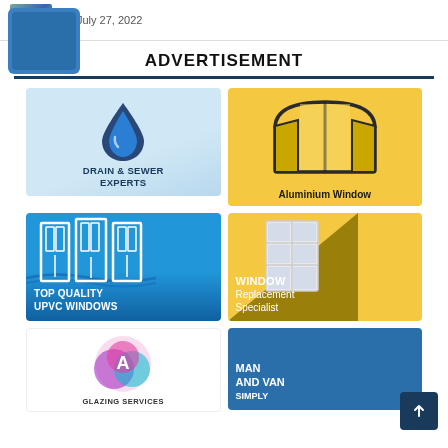July 27, 2022
ADVERTISEMENT
[Figure (illustration): 2x2 grid of advertisement tiles: Drain & Sewer Experts (blue droplet logo), Aluminium Window (window illustration on yellow), Top Quality UPVC Windows (white door frames on blue), Window Replacement Specialist (window on yellow/dark background)]
[Figure (illustration): Bottom row ads: Glazing Services (circular logo with A), Man and Van Simply (text on blue)]